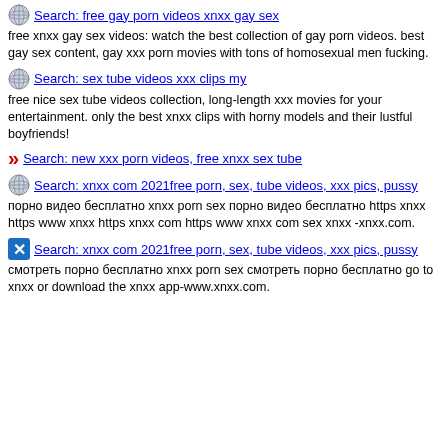Search: free gay porn videos xnxx gay sex
free xnxx gay sex videos: watch the best collection of gay porn videos. best gay sex content, gay xxx porn movies with tons of homosexual men fucking.
Search: sex tube videos xxx clips my
free nice sex tube videos collection, long-length xxx movies for your entertainment. only the best xnxx clips with horny models and their lustful boyfriends!
Search: new xxx porn videos, free xnxx sex tube
Search: xnxx com 2021free porn, sex, tube videos, xxx pics, pussy
порно видео бесплатно xnxx porn sex порно видео бесплатно https xnxx https www xnxx https xnxx com https www xnxx com sex xnxx -xnxx.com.
Search: xnxx com 2021free porn, sex, tube videos, xxx pics, pussy
смотреть порно бесплатно xnxx porn sex смотреть порно бесплатно go to xnxx or download the xnxx app-www.xnxx.com.